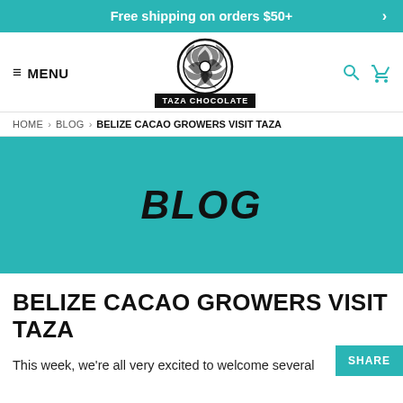Free shipping on orders $50+
[Figure (logo): Taza Chocolate logo: circular gear/leaf motif above a black banner reading TAZA CHOCOLATE]
≡ MENU
HOME > BLOG > BELIZE CACAO GROWERS VISIT TAZA
BLOG
BELIZE CACAO GROWERS VISIT TAZA
This week, we're all very excited to welcome several